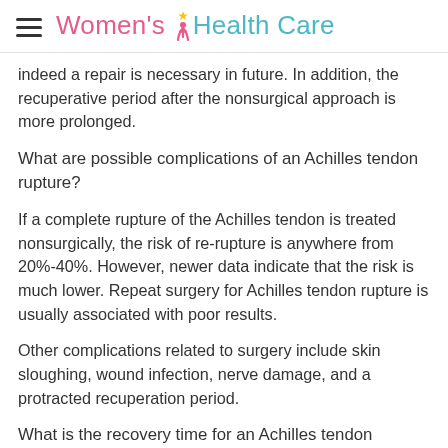Women's Health Care
indeed a repair is necessary in future. In addition, the recuperative period after the nonsurgical approach is more prolonged.
What are possible complications of an Achilles tendon rupture?
If a complete rupture of the Achilles tendon is treated nonsurgically, the risk of re-rupture is anywhere from 20%-40%. However, newer data indicate that the risk is much lower. Repeat surgery for Achilles tendon rupture is usually associated with poor results.
Other complications related to surgery include skin sloughing, wound infection, nerve damage, and a protracted recuperation period.
What is the recovery time for an Achilles tendon rupture?